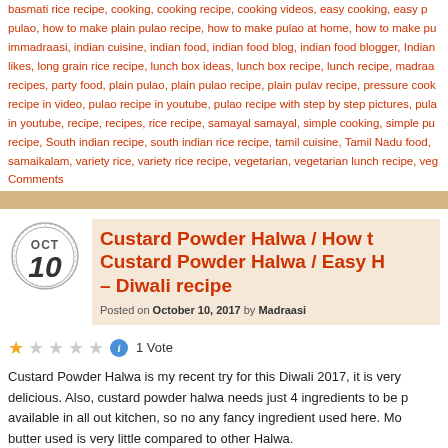basmati rice recipe, cooking, cooking recipe, cooking videos, easy cooking, easy pulao, how to make plain pulao recipe, how to make pulao at home, how to make pulao immadraasi, indian cuisine, indian food, indian food blog, indian food blogger, Indian likes, long grain rice recipe, lunch box ideas, lunch box recipe, lunch recipe, madraa recipes, party food, plain pulao, plain pulao recipe, plain pulav recipe, pressure cook recipe in video, pulao recipe in youtube, pulao recipe with step by step pictures, pula in youtube, recipe, recipes, rice recipe, samayal samayal, simple cooking, simple pu recipe, South indian recipe, south indian rice recipe, tamil cuisine, Tamil Nadu food, samaikalam, variety rice, variety rice recipe, vegetarian, vegetarian lunch recipe, veg
Comments
Custard Powder Halwa / How to make Custard Powder Halwa / Easy – Diwali recipe
Posted on October 10, 2017 by Madraasi
1 Vote
Custard Powder Halwa is my recent try for this Diwali 2017, it is very delicious. Also, custard powder halwa needs just 4 ingredients to be p available in all out kitchen, so no any fancy ingredient used here. Mo butter used is very little compared to other Halwa.